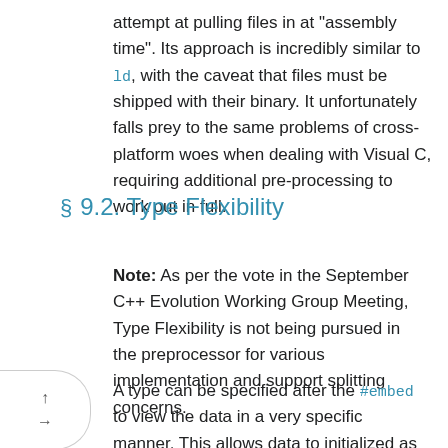attempt at pulling files in at "assembly time". Its approach is incredibly similar to ld, with the caveat that files must be shipped with their binary. It unfortunately falls prey to the same problems of cross-platform woes when dealing with Visual C, requiring additional pre-processing to work out in full.
§ 9.2. Type Flexibility
Note: As per the vote in the September C++ Evolution Working Group Meeting, Type Flexibility is not being pursued in the preprocessor for various implementation and support splitting concerns.
A type can be specified after the #embed to view the data in a very specific manner. This allows data to initialized as exactly that type.